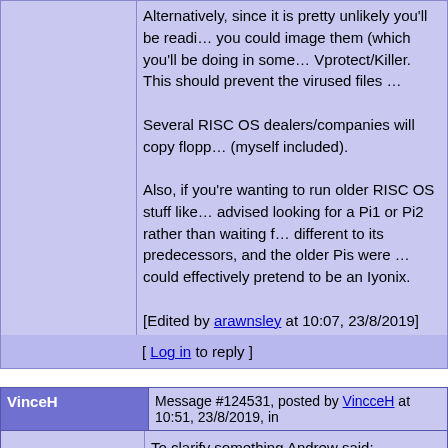Alternatively, since it is pretty unlikely you'll be reading those floppies, you could image them (which you'll be doing in some form anyway) with Vprotect/Killer. This should prevent the virused files...
Several RISC OS dealers/companies will copy flopp... (myself included).
Also, if you're wanting to run older RISC OS stuff like... advised looking for a Pi1 or Pi2 rather than waiting f... different to its predecessors, and the older Pis were... could effectively pretend to be an Iyonix.
[Edited by arawnsley at 10:07, 23/8/2019]
[ Log in to reply ]
VinceH
Message #124531, posted by VincceH at 10:51, 23/8/2019, in
Lowering the tone since the dawn of time
Posts: 1600
To clarify something Andrew said:
it is pretty unlikely you'll be reading those flop...
What Andrew is referring to is that our native floppy... drives - so it's not possible, at all, to simply plug in a... way. You'd have no choice but to go via an alternativ... access to their contents.